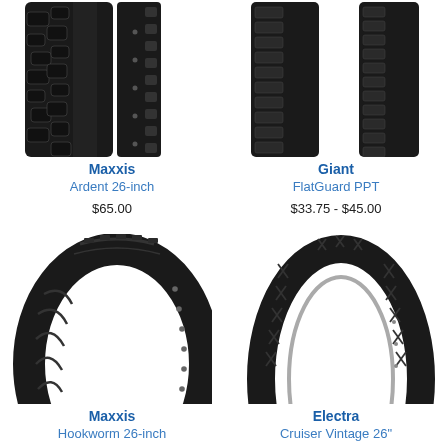[Figure (photo): Maxxis Ardent 26-inch mountain bike tire, close-up showing aggressive knobby tread pattern, black tire with sidewall dots]
Maxxis
Ardent 26-inch
$65.00
[Figure (photo): Giant FlatGuard PPT bike tire, close-up showing tread pattern with two tires side by side]
Giant
FlatGuard PPT
$33.75 - $45.00
[Figure (photo): Maxxis Hookworm 26-inch bike tire, full tire profile view showing smooth street tread with curved sipes, black tire with bead dots visible]
Maxxis
Hookworm 26-inch
[Figure (photo): Electra Cruiser Vintage 26-inch bike tire, full tire profile view showing diamond tread pattern, black tire with silver bead, slightly taller profile]
Electra
Cruiser Vintage 26"